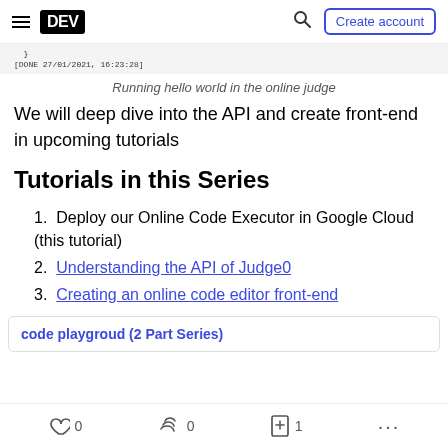DEV | Create account
}
[DONE 27/01/2021, 16:23:28]
Running hello world in the online judge
We will deep dive into the API and create front-end in upcoming tutorials
Tutorials in this Series
1. Deploy our Online Code Executor in Google Cloud (this tutorial)
2. Understanding the API of Judge0
3. Creating an online code editor front-end
code playgroud (2 Part Series)
0  0  1  ...